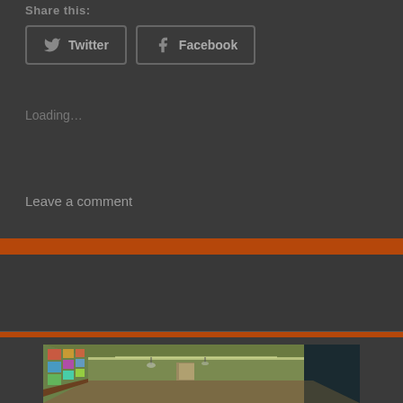Share this:
Twitter
Facebook
Loading...
Leave a comment
Corridor transition
Posted on April 6, 2014
[Figure (photo): A school corridor with colorful artwork on left wall, fluorescent lighting overhead, green painted walls, and doors visible at far end]